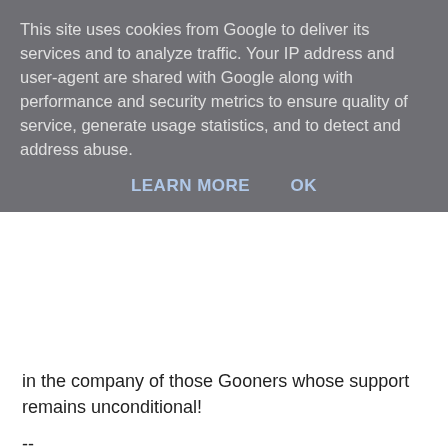This site uses cookies from Google to deliver its services and to analyze traffic. Your IP address and user-agent are shared with Google along with performance and security metrics to ensure quality of service, generate usage statistics, and to detect and address abuse.
LEARN MORE   OK
in the company of those Gooners whose support remains unconditional!
--
e-mail to: londonN5@gmail.com
Bern at 12:46 am
2 comments:
Anonymous 8:42 am
The match was OK and the crowd reasonably supportive